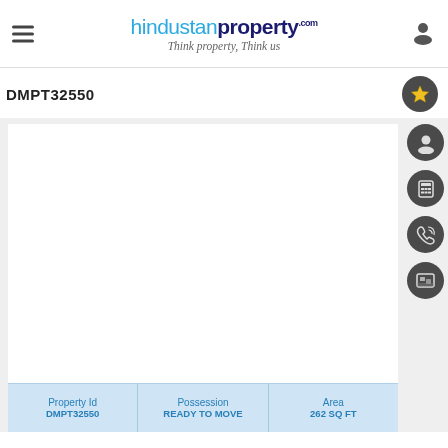hindustan property .com — Think property, Think us
DMPT32550
[Figure (screenshot): Property listing page from Hindustan Property website showing a white image placeholder area with sidebar icons (profile, calculator, phone, photo) and bottom info bar with Property Id, Possession, and Area fields]
| Property Id | Possession | Area |
| --- | --- | --- |
| DMPT32550 | READY TO MOVE | 262 SQ FT |